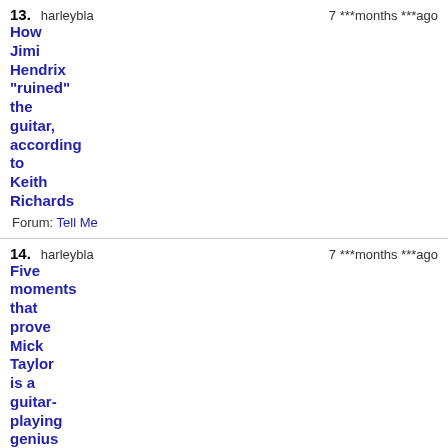13. How Jimi Hendrix "ruined" the guitar, according to Keith Richards — harleybla — 7 ***months ***ago — Forum: Tell Me
14. Five moments that prove Mick Taylor is a guitar-playing genius — harleybla — 7 ***months ***ago — Forum: Tell Me